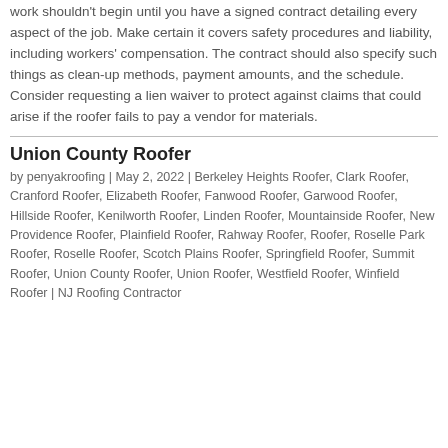work shouldn't begin until you have a signed contract detailing every aspect of the job. Make certain it covers safety procedures and liability, including workers' compensation. The contract should also specify such things as clean-up methods, payment amounts, and the schedule. Consider requesting a lien waiver to protect against claims that could arise if the roofer fails to pay a vendor for materials.
Union County Roofer
by penyakroofing | May 2, 2022 | Berkeley Heights Roofer, Clark Roofer, Cranford Roofer, Elizabeth Roofer, Fanwood Roofer, Garwood Roofer, Hillside Roofer, Kenilworth Roofer, Linden Roofer, Mountainside Roofer, New Providence Roofer, Plainfield Roofer, Rahway Roofer, Roofer, Roselle Park Roofer, Roselle Roofer, Scotch Plains Roofer, Springfield Roofer, Summit Roofer, Union County Roofer, Union Roofer, Westfield Roofer, Winfield Roofer | NJ Roofing Contractor